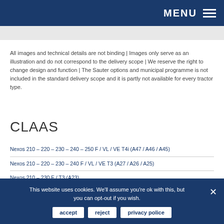MENU
All images and technical details are not binding | Images only serve as an illustration and do not correspond to the delivery scope | We reserve the right to change design and function | The Sauter options and municipal programme is not included in the standard delivery scope and it is partly not available for every tractor type.
CLAAS
Nexos 210 – 220 – 230 – 240 – 250 F / VL / VE T4i (A47 / A46 / A45)
Nexos 210 – 220 – 230 – 240 F / VL / VE T3 (A27 / A26 / A25)
Nexos 210 – 230 F / T3 (A23)
Elios 210 – 220 – 230 – 240 T4i (A48 / A68)
Atos 220 – 230 – 240 – 330 – 340 – 350 T4i (A08 / A09 / A78 / A79) with
This website uses cookies. We'll assume you're ok with this, but you can opt-out if you wish.